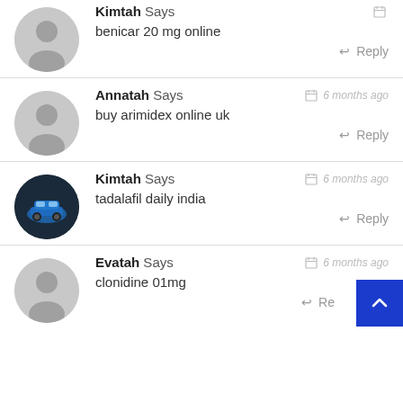Kimtah Says — benicar 20 mg online — Reply
Annatah Says — 6 months ago — buy arimidex online uk — Reply
Kimtah Says — 6 months ago — tadalafil daily india — Reply
Evatah Says — 6 months ago — clonidine 01mg — Reply